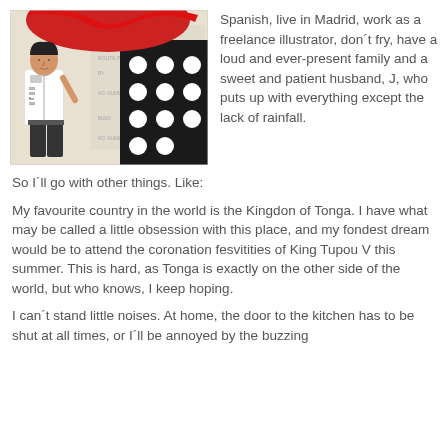[Figure (illustration): Collage artwork showing a comic-style illustration of a person in white clothing on the left, overlaid with a red torn paper shape at top, and black fabric with white polka dots on the right. A faded document/ticket is visible in the background with text including 'NO NUMERADA'.]
Spanish, live in Madrid, work as a freelance illustrator, don´t fry, have a loud and ever-present family and a sweet and patient husband, J, who puts up with everything except the lack of rainfall.
So I´ll go with other things. Like:
My favourite country in the world is the Kingdon of Tonga. I have what may be called a little obsession with this place, and my fondest dream would be to attend the coronation fesvitities of King Tupou V this summer. This is hard, as Tonga is exactly on the other side of the world, but who knows, I keep hoping.
I can´t stand little noises. At home, the door to the kitchen has to be shut at all times, or I´ll be annoyed by the buzzing